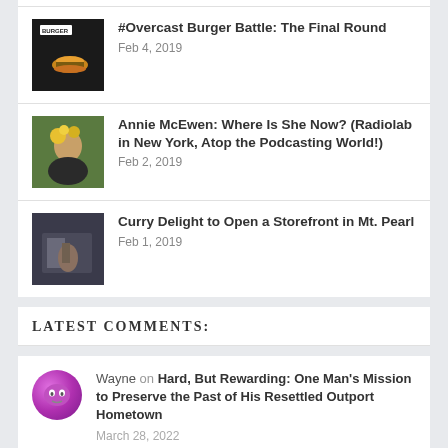#Overcast Burger Battle: The Final Round
Feb 4, 2019
Annie McEwen: Where Is She Now? (Radiolab in New York, Atop the Podcasting World!)
Feb 2, 2019
Curry Delight to Open a Storefront in Mt. Pearl
Feb 1, 2019
Latest Comments:
Wayne on Hard, But Rewarding: One Man's Mission to Preserve the Past of His Resettled Outport Hometown
March 28, 2022